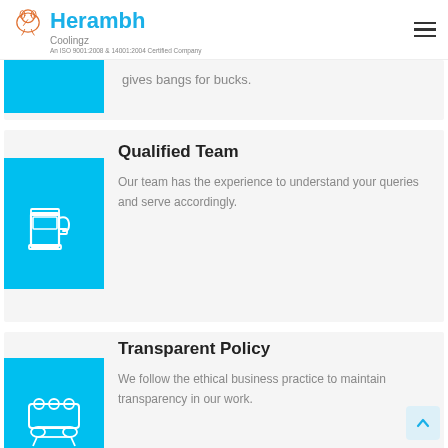Herambh Coolingz – An ISO 9001:2008 & 14001:2004 Certified Company
gives bangs for bucks.
Qualified Team
Our team has the experience to understand your queries and serve accordingly.
Transparent Policy
We follow the ethical business practice to maintain transparency in our work.